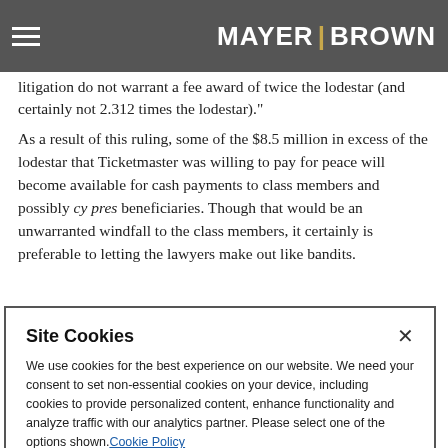MAYER BROWN
litigation do not warrant a fee award of twice the lodestar (and certainly not 2.312 times the lodestar).
As a result of this ruling, some of the $8.5 million in excess of the lodestar that Ticketmaster was willing to pay for peace will become available for cash payments to class members and possibly cy pres beneficiaries. Though that would be an unwarranted windfall to the class members, it certainly is preferable to letting the lawyers make out like bandits.
Site Cookies
We use cookies for the best experience on our website. We need your consent to set non-essential cookies on your device, including cookies to provide personalized content, enhance functionality and analyze traffic with our analytics partner. Please select one of the options shown. Cookie Policy